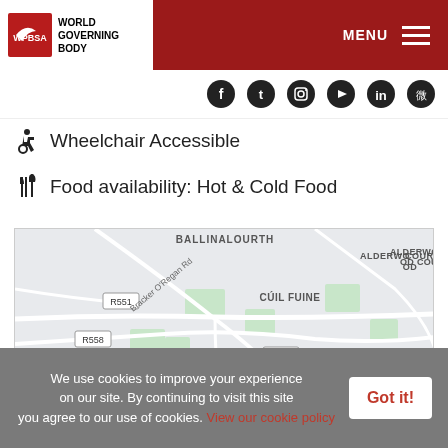WPBSA WORLD GOVERNING BODY — MENU
[Figure (screenshot): Social media icons bar: Facebook, Twitter, Instagram, YouTube, LinkedIn, Weibo]
♿ Wheelchair Accessible
🍴 Food availability: Hot & Cold Food
[Figure (map): Google Maps view showing Ballinalourth, Cúil Fuine, Carrigeendaniel Court, Oakview, Oakfield Court, Alderwood Court area with roads R551, R558, R556, R878 and Bracker O'Regan Rd]
We use cookies to improve your experience on our site. By continuing to visit this site you agree to our use of cookies. View our cookie policy